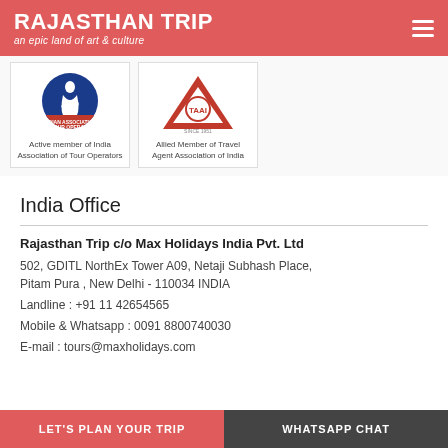RAJASTHAN TRIP — an epic land of art & culture
[Figure (logo): IATO logo — Active member of India Association of Tour Operators]
[Figure (logo): TAAI logo — Allied Member of Travel Agent Association of India]
India Office
Rajasthan Trip c/o Max Holidays India Pvt. Ltd
502, GDITL NorthEx Tower A09, Netaji Subhash Place, Pitam Pura , New Delhi - 110034 INDIA
Landline : +91 11 42654565
Mobile & Whatsapp : 0091 8800740030
E-mail : tours@maxholidays.com
LET'S PLAN YOUR TRIP | WHATSAPP CHAT